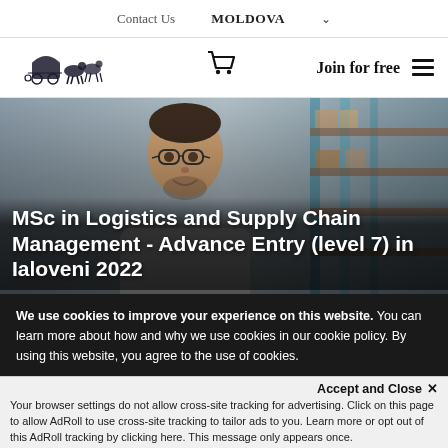Contact Us   MOLDOVA ▾
[Figure (logo): Hotcourses logo — vintage carriage with horses illustration]
Join for free
[Figure (photo): Man with glasses smiling in a warehouse/logistics setting with shelving in background]
MSc in Logistics and Supply Chain Management - Advance Entry (level 7) in Ialoveni 2022
We use cookies to improve your experience on this website. You can learn more about how and why we use cookies in our cookie policy. By using this website, you agree to the use of cookies.
Accept and Close ✕
Your browser settings do not allow cross-site tracking for advertising. Click on this page to allow AdRoll to use cross-site tracking to tailor ads to you. Learn more or opt out of this AdRoll tracking by clicking here. This message only appears once.